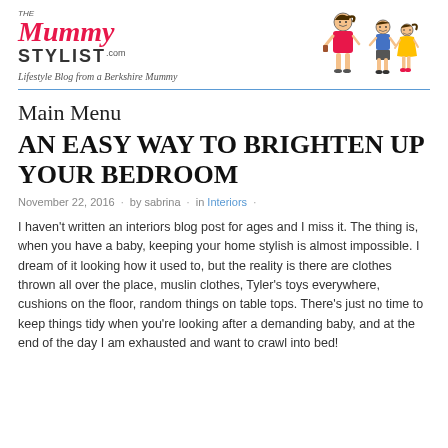[Figure (logo): The Mummy Stylist logo with illustrated cartoon of a mum and two children]
Main Menu
AN EASY WAY TO BRIGHTEN UP YOUR BEDROOM
November 22, 2016 · by sabrina · in Interiors ·
I haven't written an interiors blog post for ages and I miss it. The thing is, when you have a baby, keeping your home stylish is almost impossible. I dream of it looking how it used to, but the reality is there are clothes thrown all over the place, muslin clothes, Tyler's toys everywhere, cushions on the floor, random things on table tops. There's just no time to keep things tidy when you're looking after a demanding baby, and at the end of the day I am exhausted and want to crawl into bed!